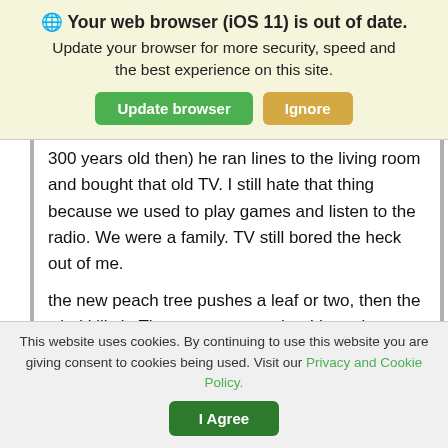🌐 Your web browser (iOS 11) is out of date. Update your browser for more security, speed and the best experience on this site.
[Figure (screenshot): Two buttons: green 'Update browser' and tan/gold 'Ignore']
300 years old then) he ran lines to the living room and bought that old TV. I still hate that thing because we used to play games and listen to the radio. We were a family. TV still bored the heck out of me.
the new peach tree pushes a leaf or two, then the wind kills it. The pear gave up, but I hope it comes back. Still no rain here. No chilis or tomatoes, but I got the jojoba planted, and some
This website uses cookies. By continuing to use this website you are giving consent to cookies being used. Visit our Privacy and Cookie Policy.
[Figure (screenshot): Green 'I Agree' button for cookie consent]